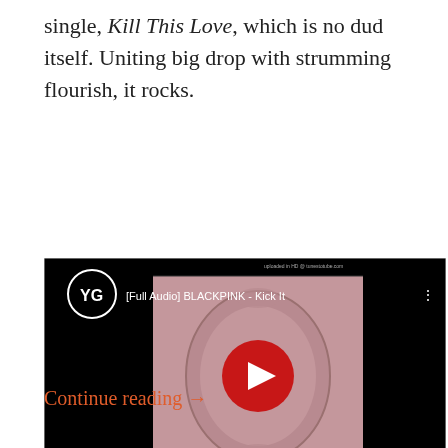single, Kill This Love, which is no dud itself. Uniting big drop with strumming flourish, it rocks.
[Figure (screenshot): YouTube video embed showing YG Entertainment logo, title '[Full Audio] BLACKPINK - Kick It' with album art thumbnail for Kill This Love and a red YouTube play button overlay. Small text 'uploaded in HD @ tunestotube.com' in top right corner.]
Continue reading →